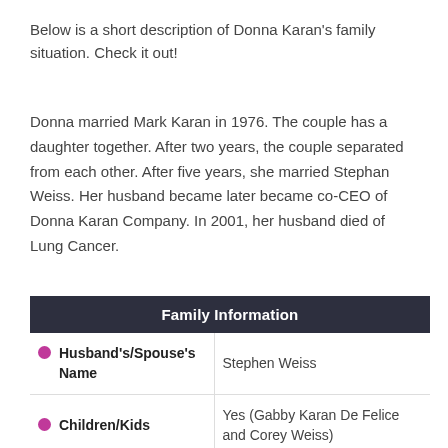Below is a short description of Donna Karan's family situation. Check it out!
Donna married Mark Karan in 1976. The couple has a daughter together. After two years, the couple separated from each other. After five years, she married Stephan Weiss. Her husband became later became co-CEO of Donna Karan Company. In 2001, her husband died of Lung Cancer.
| Family Information |
| --- |
| Husband's/Spouse's Name | Stephen Weiss |
| Children/Kids | Yes (Gabby Karan De Felice and Corey Weiss) |